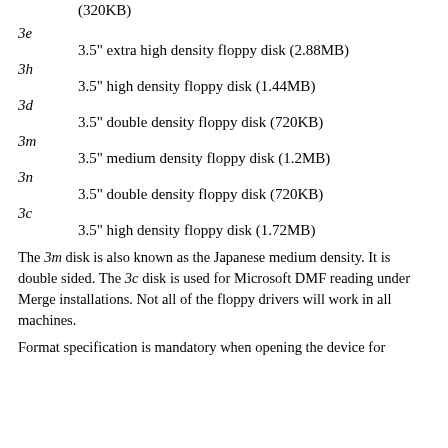(320KB)
3e
3.5" extra high density floppy disk (2.88MB)
3h
3.5" high density floppy disk (1.44MB)
3d
3.5" double density floppy disk (720KB)
3m
3.5" medium density floppy disk (1.2MB)
3n
3.5" double density floppy disk (720KB)
3c
3.5" high density floppy disk (1.72MB)
The 3m disk is also known as the Japanese medium density. It is double sided. The 3c disk is used for Microsoft DMF reading under Merge installations. Not all of the floppy drivers will work in all machines.
Format specification is mandatory when opening the device for